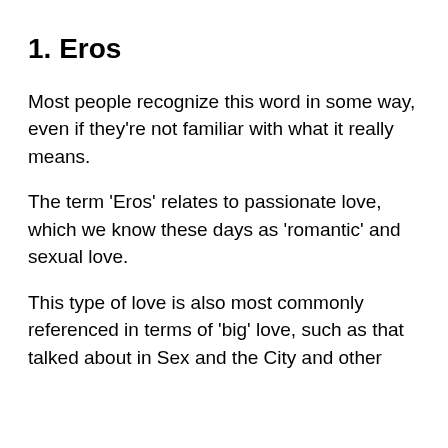1. Eros
Most people recognize this word in some way, even if they're not familiar with what it really means.
The term 'Eros' relates to passionate love, which we know these days as 'romantic' and sexual love.
This type of love is also most commonly referenced in terms of 'big' love, such as that talked about in Sex and the City and other